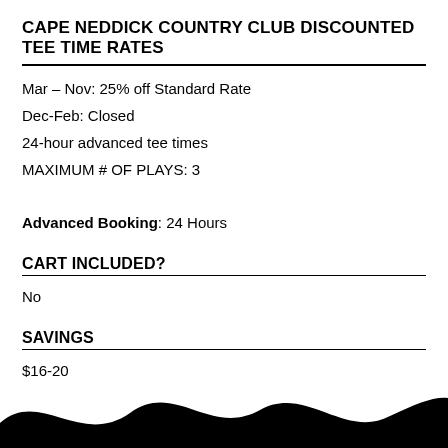CAPE NEDDICK COUNTRY CLUB DISCOUNTED TEE TIME RATES
Mar – Nov: 25% off Standard Rate
Dec-Feb: Closed
24-hour advanced tee times
MAXIMUM # OF PLAYS: 3
Advanced Booking: 24 Hours
CART INCLUDED?
No
SAVINGS
$16-20